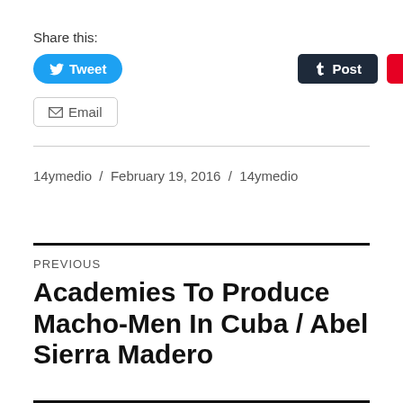Share this:
[Figure (other): Social share buttons: Tweet (Twitter/blue), Post (Tumblr/dark), Save (Pinterest/red), Email (grey outlined)]
14ymedio / February 19, 2016 / 14ymedio
PREVIOUS
Academies To Produce Macho-Men In Cuba / Abel Sierra Madero